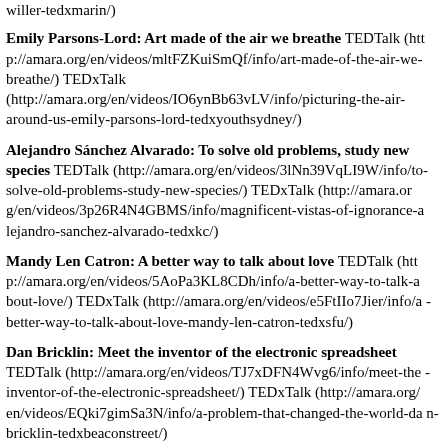willer-tedxmarin/)
Emily Parsons-Lord: Art made of the air we breathe TEDTalk (http://amara.org/en/videos/mltFZKuiSmQf/info/art-made-of-the-air-we-breathe/) TEDxTalk (http://amara.org/en/videos/IO6ynBb63vLV/info/picturing-the-air-around-us-emily-parsons-lord-tedxyouthsydney/)
Alejandro Sánchez Alvarado: To solve old problems, study new species TEDTalk (http://amara.org/en/videos/3lNn39VqLI9W/info/to-solve-old-problems-study-new-species/) TEDxTalk (http://amara.org/en/videos/3p26R4N4GBMS/info/magnificent-vistas-of-ignorance-alejandro-sanchez-alvarado-tedxkc/)
Mandy Len Catron: A better way to talk about love TEDTalk (http://amara.org/en/videos/5AoPa3KL8CDh/info/a-better-way-to-talk-about-love/) TEDxTalk (http://amara.org/en/videos/e5FtIIo7Jier/info/a-better-way-to-talk-about-love-mandy-len-catron-tedxsfu/)
Dan Bricklin: Meet the inventor of the electronic spreadsheet TEDTalk (http://amara.org/en/videos/TJ7xDFN4Wvg6/info/meet-the-inventor-of-the-electronic-spreadsheet/) TEDxTalk (http://amara.org/en/videos/EQki7gimSa3N/info/a-problem-that-changed-the-world-dan-bricklin-tedxbeaconstreet/)
Sofia... Word: The li... TEDTalk (htt...